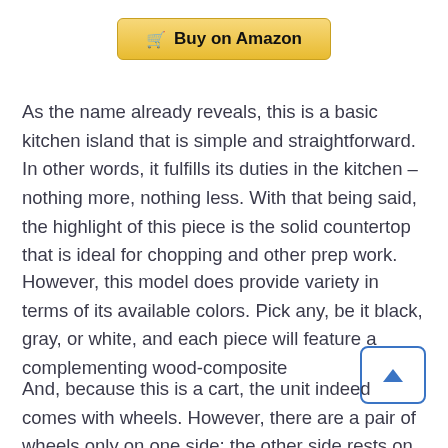[Figure (other): Buy on Amazon button with shopping cart icon, golden/yellow gradient background]
As the name already reveals, this is a basic kitchen island that is simple and straightforward. In other words, it fulfills its duties in the kitchen – nothing more, nothing less. With that being said, the highlight of this piece is the solid countertop that is ideal for chopping and other prep work.
However, this model does provide variety in terms of its available colors. Pick any, be it black, gray, or white, and each piece will feature a complementing wood-composite
And, because this is a cart, the unit indeed comes with wheels. However, there are a pair of wheels only on one side; the other side rests on wooden legs. To move the cart around, buyers can